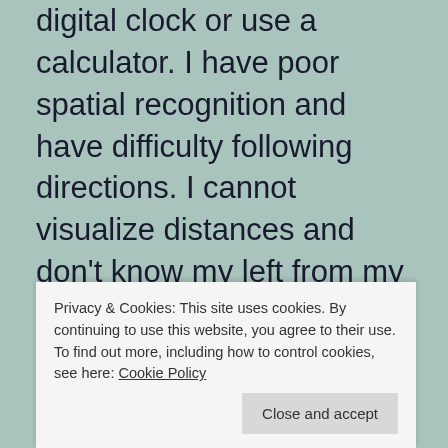digital clock or use a calculator. I have poor spatial recognition and have difficulty following directions. I cannot visualize distances and don't know my left from my right without making the L with my thumb to decide. Dates and times are difficult and as for remembering birthdays etc, well, let's just say I am not your woman.
I rely heavily on my calendar and diary. I have c... o... m... messaging and as a camera. Dyscalculia is
Privacy & Cookies: This site uses cookies. By continuing to use this website, you agree to their use.
To find out more, including how to control cookies, see here: Cookie Policy
Close and accept